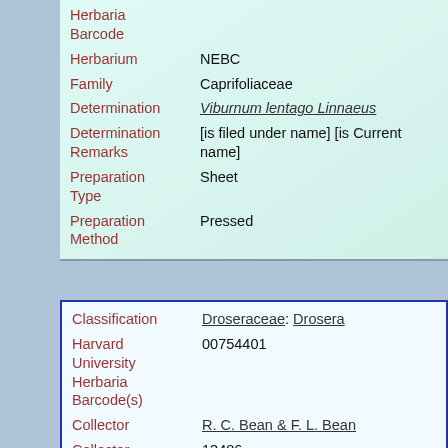| Field | Value |
| --- | --- |
| Herbaria Barcode |  |
| Herbarium | NEBC |
| Family | Caprifoliaceae |
| Determination | Viburnum lentago Linnaeus |
| Determination Remarks | [is filed under name] [is Current name] |
| Preparation Type | Sheet |
| Preparation Method | Pressed |
| Field | Value |
| --- | --- |
| Classification | Droseraceae: Drosera |
| Harvard University Herbaria Barcode(s) | 00754401 |
| Collector | R. C. Bean & F. L. Bean |
| Collector number | 13486 |
| Country | United States of America |